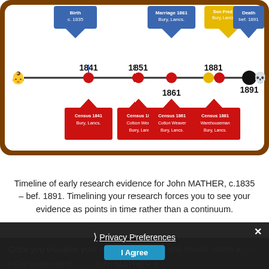[Figure (infographic): Timeline of early research evidence for John MATHER. Shows a horizontal timeline with events: Birth c.1835 (blue arrow/box, 1841 census marker), Census 1841 Bury Lancs (red box), Census 1851 Cotton Weaver Bury Lancs (red box, 1851 marker), Marriage 1861 Bury Lancs (blue arrow/box), Census 1861 Cotton Weaver Bury Lancs (red box, 1861 marker), Son Fred born Bury Lancs 1877 (yellow arrow/box), Census 1881 Warehouseman Bury Lancs (red box, 1881 marker), Death bef. 1891 (blue arrow/box, 1891 marker with skull icon). Timeline uses red circles for census points, yellow circle for son's birth, black circle for death, baby icon at start and skull icon at end.]
Timeline of early research evidence for John MATHER, c.1835 – bef. 1891. Timelining your research forces you to see your evidence as points in time rather than a continuum.
Once you visualise your research like this, you should notice a few things:
Our understanding of John MATHER is